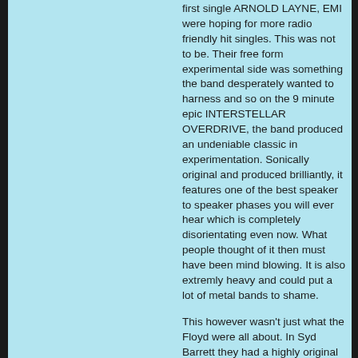first single ARNOLD LAYNE, EMI were hoping for more radio friendly hit singles. This was not to be. Their free form experimental side was something the band desperately wanted to harness and so on the 9 minute epic INTERSTELLAR OVERDRIVE, the band produced an undeniable classic in experimentation. Sonically original and produced brilliantly, it features one of the best speaker to speaker phases you will ever hear which is completely disorientating even now. What people thought of it then must have been mind blowing. It is also extremly heavy and could put a lot of metal bands to shame.
This however wasn't just what the Floyd were all about. In Syd Barrett they had a highly original talent whose guitar experimentation coupled with his child like whimsical nature produced some of the albums most astonishing tracks. THE